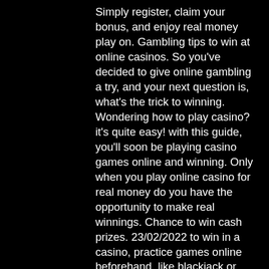Simply register, claim your bonus, and enjoy real money play on. Gambling tips to win at online casinos. So you've decided to give online gambling a try, and your next question is, what's the trick to winning. Wondering how to play casino? it's quite easy! with this guide, you'll soon be playing casino games online and winning. Only when you play online casino for real money do you have the opportunity to make real winnings. Chance to win cash prizes. 23/02/2022 to win in a casino, practice games online beforehand, like blackjack or poker, so you know how they work. Before you go to the casino. It's relevant not just for the players hoping to find and play at an online casino, but also to know how these online casinos operate in. We review the best online casinos for real money in 2022. You can play to win real cash right now without having to travel, find a hotel, join the queue Enjoy more chances to